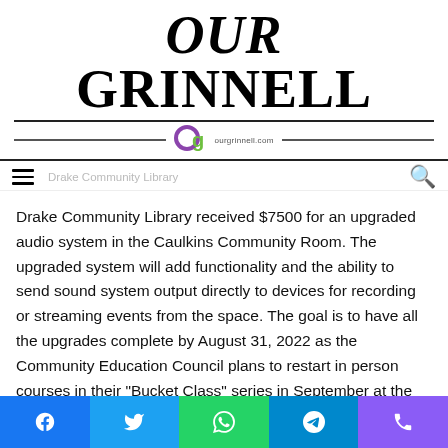[Figure (logo): Our Grinnell newspaper masthead logo with 'OUR GRINNELL' in large bold serif/italic text, decorative double rule, and ourgrinnell.com logo badge]
Drake Community Library
Drake Community Library received $7500 for an upgraded audio system in the Caulkins Community Room. The upgraded system will add functionality and the ability to send sound system output directly to devices for recording or streaming events from the space. The goal is to have all the upgrades complete by August 31, 2022 as the Community Education Council plans to restart in person courses in their "Bucket Class" series in September at the library.
Social share buttons: Facebook, Twitter, WhatsApp, Telegram, Phone